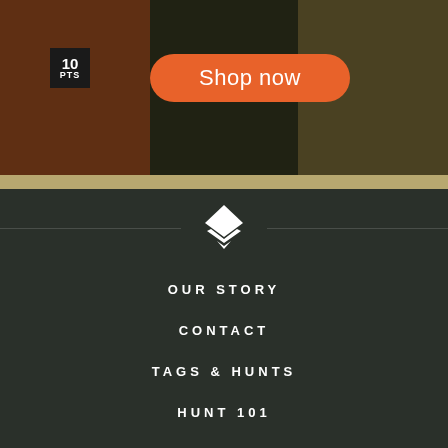[Figure (photo): Outdoor/hunting gear product photo with orange backpack and person in background, dark forest setting]
10 PTS
Shop now
[Figure (logo): Diamond/chevron shaped white logo icon with horizontal lines on either side]
OUR STORY
CONTACT
TAGS & HUNTS
HUNT 101
CAREERS